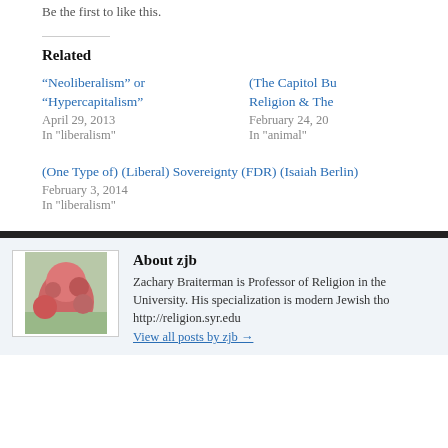Be the first to like this.
Related
“Neoliberalism” or “Hypercapitalism”
April 29, 2013
In "liberalism"
(The Capitol Bu... Religion & The...
February 24, 20...
In "animal"
(One Type of) (Liberal) Sovereignty (FDR) (Isaiah Berlin)
February 3, 2014
In "liberalism"
About zjb
Zachary Braiterman is Professor of Religion in the University. His specialization is modern Jewish tho... http://religion.syr.edu
View all posts by zjb →